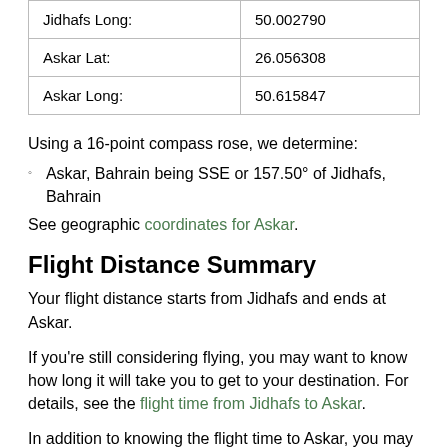| Jidhafs Long: | 50.002790 |
| Askar Lat: | 26.056308 |
| Askar Long: | 50.615847 |
Using a 16-point compass rose, we determine:
Askar, Bahrain being SSE or 157.50° of Jidhafs, Bahrain
See geographic coordinates for Askar.
Flight Distance Summary
Your flight distance starts from Jidhafs and ends at Askar.
If you're still considering flying, you may want to know how long it will take you to get to your destination. For details, see the flight time from Jidhafs to Askar.
In addition to knowing the flight time to Askar, you may also want to know how elevated the land is due to the fact that this can have an impact on the altitude at